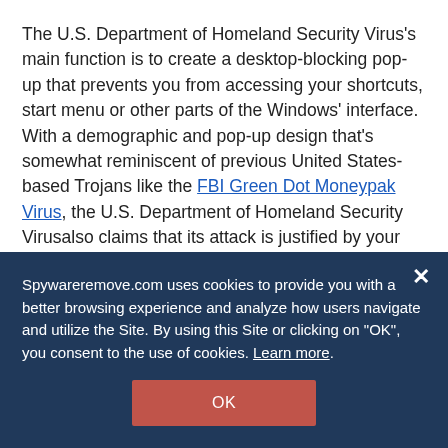The U.S. Department of Homeland Security Virus's main function is to create a desktop-blocking pop-up that prevents you from accessing your shortcuts, start menu or other parts of the Windows' interface. With a demographic and pop-up design that's somewhat reminiscent of previous United States-based Trojans like the FBI Green Dot Moneypak Virus, the U.S. Department of Homeland Security Virusalso claims that its attack is justified by your illegal computer usage
Spywareremove.com uses cookies to provide you with a better browsing experience and analyze how users navigate and utilize the Site. By using this Site or clicking on "OK", you consent to the use of cookies. Learn more.